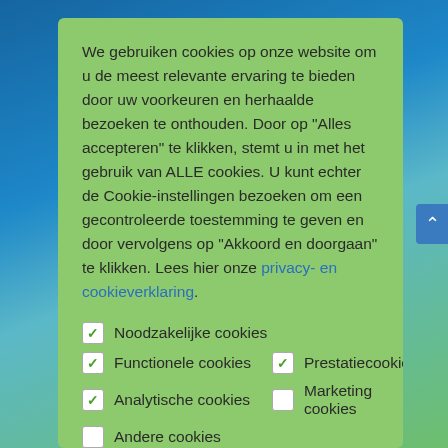We gebruiken cookies op onze website om u de meest relevante ervaring te bieden door uw voorkeuren en herhaalde bezoeken te onthouden. Door op "Alles accepteren" te klikken, stemt u in met het gebruik van ALLE cookies. U kunt echter de Cookie-instellingen bezoeken om een gecontroleerde toestemming te geven en door vervolgens op "Akkoord en doorgaan" te klikken. Lees hier onze privacy- en cookieverklaring.
✓ Noodzakelijke cookies
✓ Functionele cookies   ✓ Prestatiecookies
✓ Analytische cookies   □ Marketing cookies
□ Andere cookies
Cookie instellingen
Akkoord en doorgaan